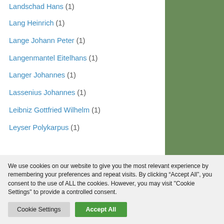Landschad Hans (1)
Lang Heinrich (1)
Lange Johann Peter (1)
Langenmantel Eitelhans (1)
Langer Johannes (1)
Lassenius Johannes (1)
Leibniz Gottfried Wilhelm (1)
Leyser Polykarpus (1)
We use cookies on our website to give you the most relevant experience by remembering your preferences and repeat visits. By clicking “Accept All”, you consent to the use of ALL the cookies. However, you may visit "Cookie Settings" to provide a controlled consent.